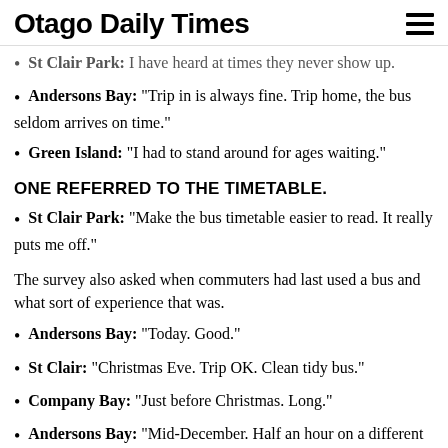Otago Daily Times
St Clair Park: I have heard at times they never show up.
Andersons Bay: "Trip in is always fine. Trip home, the bus seldom arrives on time."
Green Island: "I had to stand around for ages waiting."
ONE REFERRED TO THE TIMETABLE.
St Clair Park: "Make the bus timetable easier to read. It really puts me off."
The survey also asked when commuters had last used a bus and what sort of experience that was.
Andersons Bay: "Today. Good."
St Clair: "Christmas Eve. Trip OK. Clean tidy bus."
Company Bay: "Just before Christmas. Long."
Andersons Bay: "Mid-December. Half an hour on a different route than I would normally take."